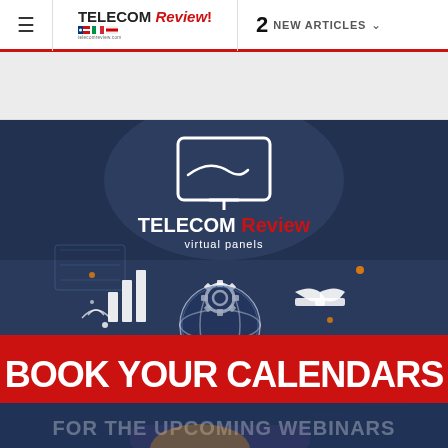≡  TELECOM Review  2 NEW ARTICLES ▾
[Figure (illustration): Telecom Review virtual panels promotional banner: 'BOOK YOUR CALENDARS FOR THE UPCOMING WEBINARS' with background of person using smartphone, globe with network icons, bar chart icon, gear icon, handshake icon.]